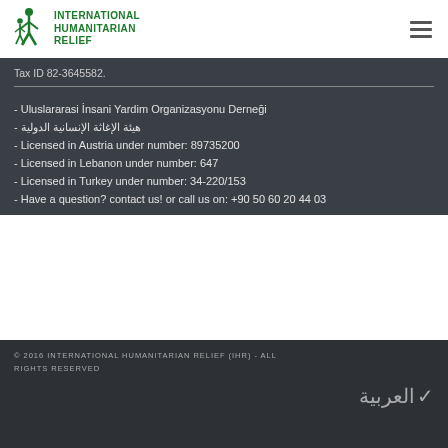INTERNATIONAL HUMANITARIAN RELIEF
Tax ID 82-3645582.
- Uluslararasi İnsani Yardim Organizasyonu Derneği
- هيئة الإغاثة الإنسانية الدولية
- Licensed in Austria under number: 89735200
- Licensed in Lebanon under number: 647
- Licensed in Turkey under number: 34-220/153
- Have a question? contact us! or call us on: +90 50 60 20 44 03
© 2016 INTERNATIONAL HUMANITARIAN RELIEF (IHR) - ALL RIGHTS RESERVED